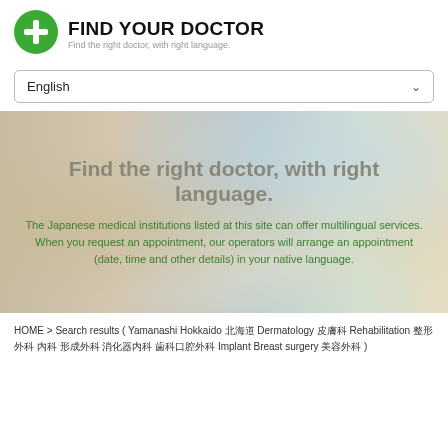[Figure (logo): Green circle with white plus sign — Find Your Doctor logo]
FIND YOUR DOCTOR
Find the right doctor, with right language.
English
[Figure (photo): Blurred hospital corridor background with overlay text]
Find the right doctor, with right language.
The Japanese medical institutions listed at this site can offer multilingual services. When you request an appointment, our operators will arrange an appointment (date, time and other details) in your native language.
HOME > Search results ( Yamanashi Hokkaido 北海道 Dermatology 皮膚科 Rehabilitation 整形外科 内科 形成外科 消化器内科 歯科口腔外科 Implant Breast surgery 美容外科 )